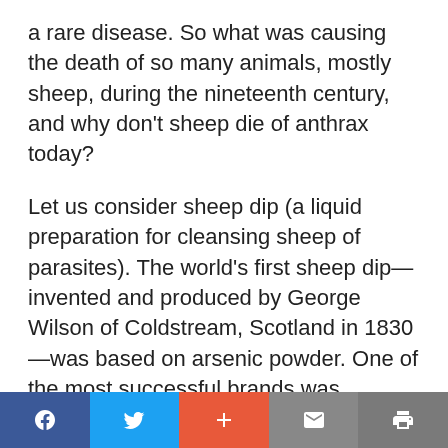a rare disease. So what was causing the death of so many animals, mostly sheep, during the nineteenth century, and why don't sheep die of anthrax today?
Let us consider sheep dip (a liquid preparation for cleansing sheep of parasites). The world's first sheep dip—invented and produced by George Wilson of Coldstream, Scotland in 1830—was based on arsenic powder. One of the most successful brands was Cooper's Dip, developed in 1852 by the British veterinary surgeon and industrialist William Cooper. Cooper's dip contained
[social share bar: Facebook, Twitter, Plus, Mail, Print]